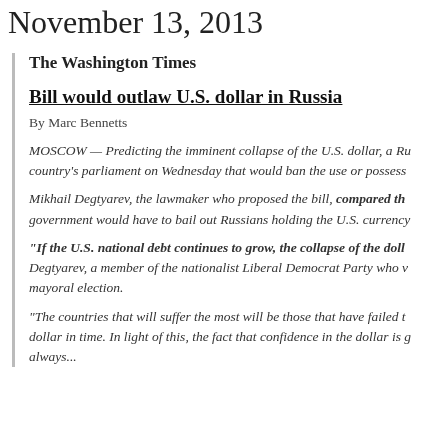November 13, 2013
The Washington Times
Bill would outlaw U.S. dollar in Russia
By Marc Bennetts
MOSCOW — Predicting the imminent collapse of the U.S. dollar, a Ru... country's parliament on Wednesday that would ban the use or possess...
Mikhail Degtyarev, the lawmaker who proposed the bill, compared th... government would have to bail out Russians holding the U.S. currency...
“If the U.S. national debt continues to grow, the collapse of the dollo... Degtyarev, a member of the nationalist Liberal Democrat Party who v... mayoral election.
“The countries that will suffer the most will be those that have failed t... dollar in time. In light of this, the fact that confidence in the dollar is g... always..."